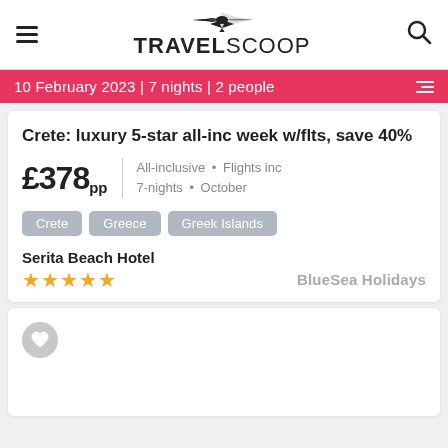TRAVELSCOOP
10 February 2023 | 7 nights | 2 people
Crete: luxury 5-star all-inc week w/flts, save 40%
£378pp  All-inclusive • Flights inc  7-nights • October
Crete
Greece
Greek Islands
Serita Beach Hotel
★★★★★  BlueSea Holidays